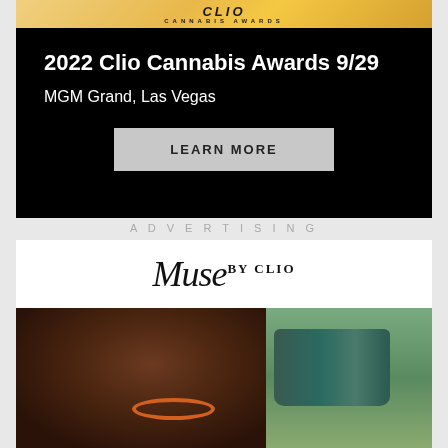[Figure (other): Clio Cannabis Awards banner strip with gold gradient background showing 'CLIO CANNABIS AWARDS' text]
2022 Clio Cannabis Awards 9/29
MGM Grand, Las Vegas
LEARN MORE
ADVERTISING
[Figure (logo): Muse by Clio logo in italic serif font]
[Figure (photo): Close-up photo of a Black woman wearing a black cap and orange hoop earring, drinking from a green can, with outdoor background]